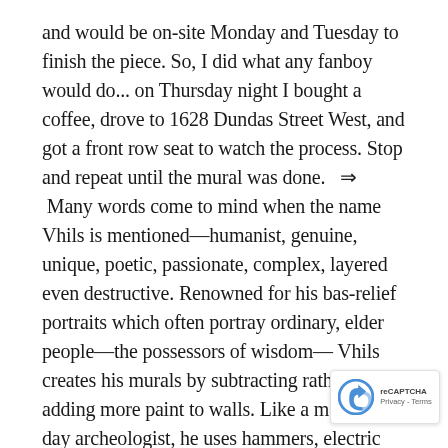and would be on-site Monday and Tuesday to finish the piece. So, I did what any fanboy would do... on Thursday night I bought a coffee, drove to 1628 Dundas Street West, and got a front row seat to watch the process. Stop and repeat until the mural was done.  ⇒  Many words come to mind when the name Vhils is mentioned—humanist, genuine, unique, poetic, passionate, complex, layered even destructive. Renowned for his bas-relief portraits which often portray ordinary, elder people—the possessors of wisdom— Vhils creates his murals by subtracting rather than adding more paint to walls. Like a modern-day archeologist, he uses hammers, electric chisels and explosives to chip through layers of plaster, paint and dirt, exposing the history beneath to create something new and relevant to the community and the results are breathtaking.  ⇒  When I showed on Monday afternoon (day five), the artist had arrived and had been working all day—most of the mural was